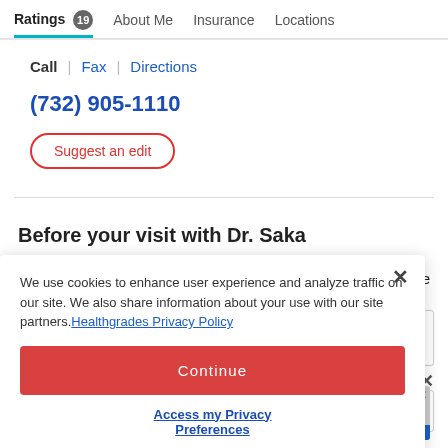Ratings 19 | About Me | Insurance | Locations
Call | Fax | Directions
(732) 905-1110
Suggest an edit
Before your visit with Dr. Saka
ask the
We use cookies to enhance user experience and analyze traffic on our site. We also share information about your use with our site partners. Healthgrades Privacy Policy
Continue
Access my Privacy Preferences